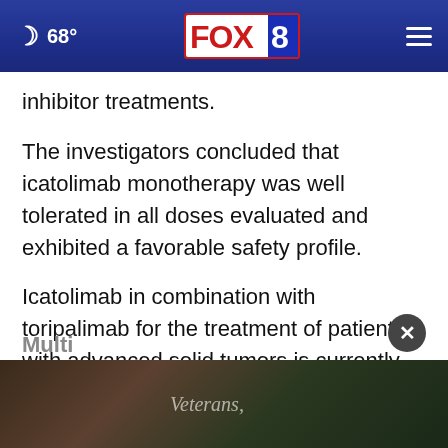68° FOX 8
inhibitor treatments.
The investigators concluded that icatolimab monotherapy was well tolerated in all doses evaluated and exhibited a favorable safety profile.
Icatolimab in combination with toripalimab for the treatment of patients with advanced solid tumors is currently ongoing.
Multi
[Figure (photo): Advertisement overlay showing a person sitting in a chair, with text 'Veterans,' visible]